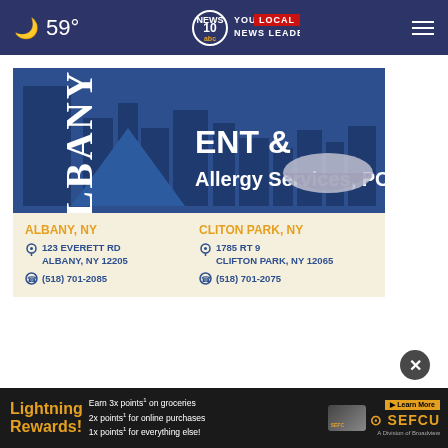59° | NEWS 10 YOUR LOCAL NEWS LEADER
[Figure (logo): Albany ENT & Allergy Services, PC advertisement with city skyline logo, two office locations: Albany NY at 123 Everett Rd Albany NY 12205 (518) 701-2085 and Clifton Park NY at 1785 RT 9 Clifton Park NY 12065 (518) 701-2075]
[Figure (infographic): SEFCU Lightning Rewards banner ad: Earn 3x points on groceries, 2x points for online purchases, 1x points for everything else. Learn More. SEFCU A Division of Broadview.]